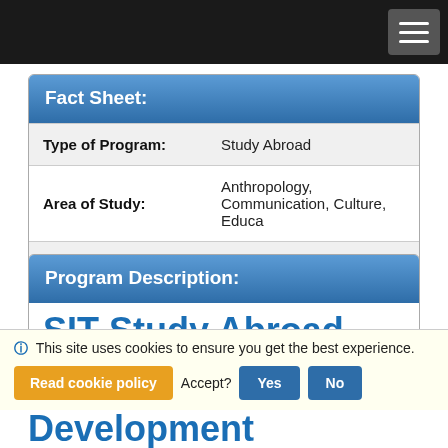| Type of Program: | Study Abroad |
| Area of Study: | Anthropology, Communication, Culture, Educa |
| Minimum GPA: | 2.5 |
Fact Sheet:
Program Description:
SIT Study Abroad Chile: Cultural Identity, Social Development